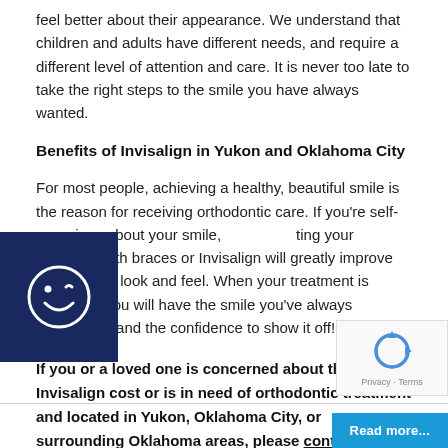feel better about their appearance.  We understand that children and adults have different needs, and require a different level of attention and care.  It is never too late to take the right steps to the smile you have always wanted.
Benefits of Invisalign in Yukon and Oklahoma City
[Figure (logo): Dark blue square badge with a white smiley face (winking) logo]
For most people, achieving a healthy, beautiful smile is the reason for receiving orthodontic care. If you’re self-conscious about your smile, treating your concerns with braces or Invisalign will greatly improve the way you look and feel.  When your treatment is complete, you will have the smile you’ve always dreamed of and the confidence to show it off!
If you or a loved one is concerned about the Invisalign cost or is in need of orthodontic treatment and located in Yukon, Oklahoma City, or surrounding Oklahoma areas, please contact us today to set up your FREE consultation.  Call now! (405) 227-0054.
[Figure (logo): reCAPTCHA widget showing spinning arrows icon with 'Privacy - Terms' text below]
Read more...